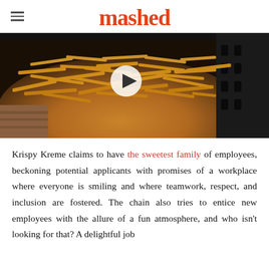mashed
[Figure (photo): Photo of french fries in a dark air fryer basket, with a circular play button overlay in the center]
Krispy Kreme claims to have the sweetest family of employees, beckoning potential applicants with promises of a workplace where everyone is smiling and where teamwork, respect, and inclusion are fostered. The chain also tries to entice new employees with the allure of a fun atmosphere, and who isn't looking for that? A delightful job